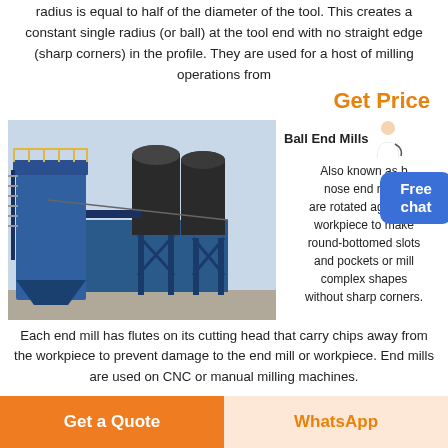radius is equal to half of the diameter of the tool. This creates a constant single radius (or ball) at the tool end with no straight edge (sharp corners) in the profile. They are used for a host of milling operations from
Get Price
[Figure (photo): Photo of industrial ball mill equipment — large blue steel structure with cylindrical tanks and access stairs/ladder]
Ball End Mills
Also known as ball nose end mills, they are rotated against a workpiece to make round-bottomed slots and pockets or mill complex shapes without sharp corners.
Each end mill has flutes on its cutting head that carry chips away from the workpiece to prevent damage to the end mill or workpiece. End mills are used on CNC or manual milling machines.
Get a Quote
WhatsApp